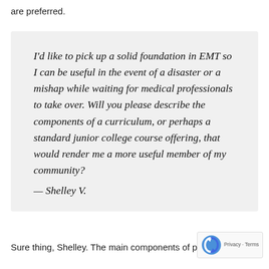are preferred.
I'd like to pick up a solid foundation in EMT so I can be useful in the event of a disaster or a mishap while waiting for medical professionals to take over. Will you please describe the components of a curriculum, or perhaps a standard junior college course offering, that would render me a more useful member of my community?
— Shelley V.
Sure thing, Shelley. The main components of p